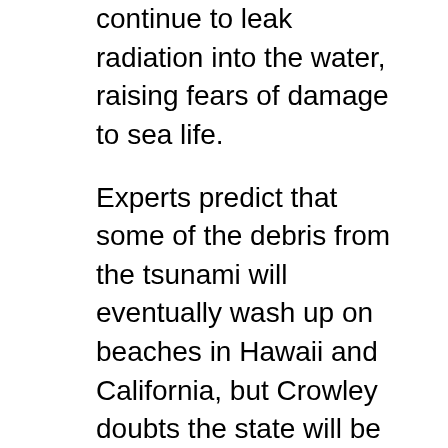continue to leak radiation into the water, raising fears of damage to sea life.
Experts predict that some of the debris from the tsunami will eventually wash up on beaches in Hawaii and California, but Crowley doubts the state will be affected radiologically. “The majority [of the debris] got whooshed out by the tsunami before the leaks began,” she explained.
She says that at a marine debris conference in Honolulu shortly after the tsunami, attendees expressed concern about “land-sourced” debris – trash that flows into the ocean by way of rivers and streams or is dumped directly into the ocean from ships.
“People said that in recent years there’s also